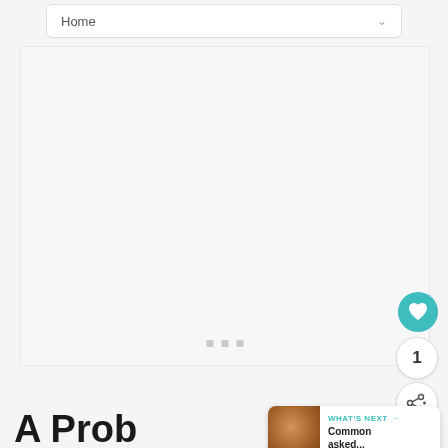Home
[Figure (screenshot): Large empty light gray content area with three small gray square dots centered near the bottom, indicating a loading or carousel state]
[Figure (infographic): Teal circular heart/favorite button]
1
[Figure (infographic): Share button icon with plus sign]
[Figure (infographic): What's Next card showing a hazelnut thumbnail image with label 'WHAT'S NEXT' and text 'Common asked...']
A Prob...